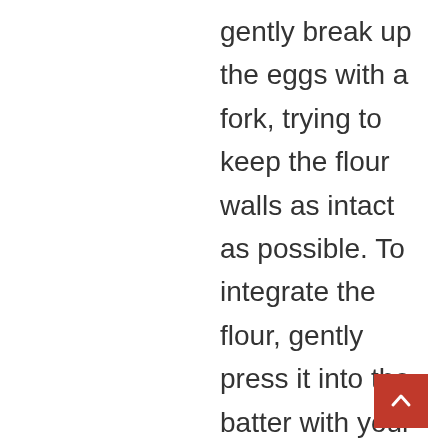gently break up the eggs with a fork, trying to keep the flour walls as intact as possible. To integrate the flour, gently press it into the batter with your hands. Working with your hands, bring the dough together into a shaggy ball. Knead the dough for 8 to 10 minutes until it is elastic. Although the dough will seem dry at first, persevere and the dough will come together. Initially, it may not appear as though the dough will come together, but after 8-10 minutes of kneading, the dough should become cohesive and smooth. To integrate a small amount of water if the